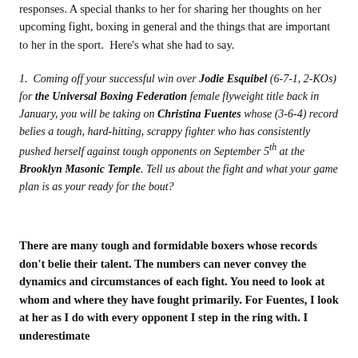responses. A special thanks to her for sharing her thoughts on her upcoming fight, boxing in general and the things that are important to her in the sport.  Here's what she had to say.
1. Coming off your successful win over Jodie Esquibel (6-7-1, 2-KOs) for the Universal Boxing Federation female flyweight title back in January, you will be taking on Christina Fuentes whose (3-6-4) record belies a tough, hard-hitting, scrappy fighter who has consistently pushed herself against tough opponents on September 5th at the Brooklyn Masonic Temple. Tell us about the fight and what your game plan is as your ready for the bout?
There are many tough and formidable boxers whose records don't belie their talent. The numbers can never convey the dynamics and circumstances of each fight. You need to look at whom and where they have fought primarily. For Fuentes, I look at her as I do with every opponent I step in the ring with. I underestimate